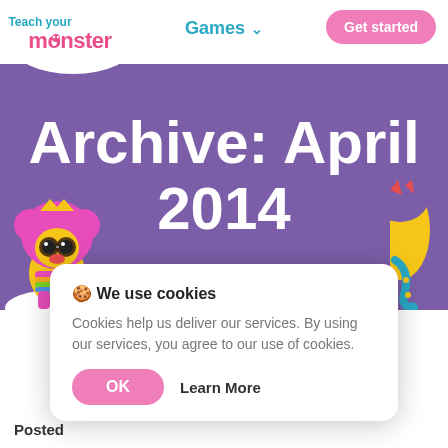[Figure (logo): Teach Your Monster logo - colorful text logo with monster character]
Games ∨
Get started
Archive: April 2014
[Figure (illustration): Colorful cartoon monster character with pink hair, glasses, wearing a rainbow scarf - left side]
[Figure (illustration): Colorful cartoon monster character - right side, partially visible]
🍪 We use cookies
Cookies help us deliver our services. By using our services, you agree to our use of cookies.
OK
Learn More
Posted